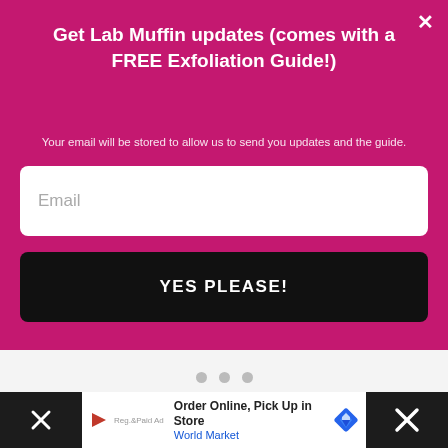Get Lab Muffin updates (comes with a FREE Exfoliation Guide!)
Your email will be stored to allow us to send you updates and the guide.
[Figure (screenshot): Email input field with placeholder text 'Email' on white background with rounded corners]
YES PLEASE!
[Figure (screenshot): Loading indicator with three grey dots on light grey background]
[Figure (screenshot): Advertisement banner: 'Order Online, Pick Up in Store' - World Market, with navigation arrow logo]